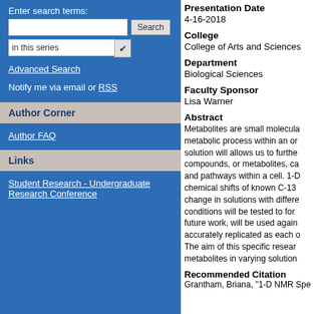Enter search terms:
Search
in this series
Advanced Search
Notify me via email or RSS
Author Corner
Author FAQ
Links
Student Research - Undergraduate Research Conference
Presentation Date
4-16-2018
College
College of Arts and Sciences
Department
Biological Sciences
Faculty Sponsor
Lisa Warner
Abstract
Metabolites are small molecula... metabolic process within an or... solution will allows us to furthe... compounds, or metabolites, ca... and pathways within a cell. 1-D... chemical shifts of known C-13... change in solutions with differe... conditions will be tested to form... future work, will be used again... accurately replicated as each o... The aim of this specific resear... metabolites in varying solution...
Recommended Citation
Grantham, Briana, "1-D NMR Spe...